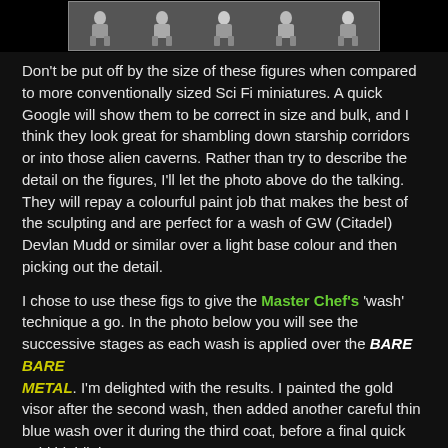[Figure (photo): Black and white photo strip showing miniature sci-fi figures at the top of the page]
Don't be put off by the size of these figures when compared to more conventionally sized Sci Fi miniatures. A quick Google will show them to be correct in size and bulk, and I think they look great for shambling down starship corridors or into those alien caverns. Rather than try to describe the detail on the figures, I'll let the photo above do the talking. They will repay a colourful paint job that makes the best of the sculpting and are perfect for a wash of GW (Citadel) Devlan Mudd or similar over a light base colour and then picking out the detail.
I chose to use these figs to give the Master Chef's 'wash' technique a go. In the photo below you will see the successive stages as each wash is applied over the BARE METAL. I'm delighted with the results. I painted the gold visor after the second wash, then added another careful thin blue wash over it during the third coat, before a final quick gold highlight.